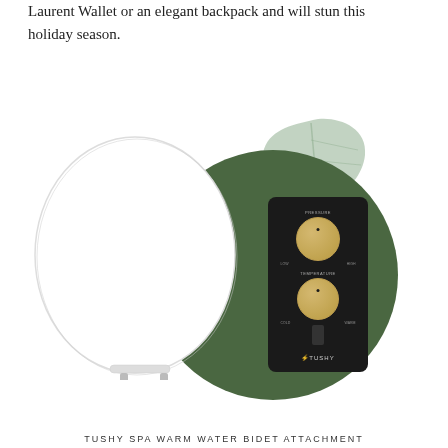Laurent Wallet or an elegant backpack and will stun this holiday season.
[Figure (photo): TUSHY Spa Warm Water Bidet product photo showing a white toilet seat with a black control panel featuring two gold knobs, set against a dark olive green circle background with a sage green leaf decoration. The product title 'TUSHY Spa Warm Water Bidet' appears at the top in a light blue-gray highlighted box.]
TUSHY SPA WARM WATER BIDET ATTACHMENT